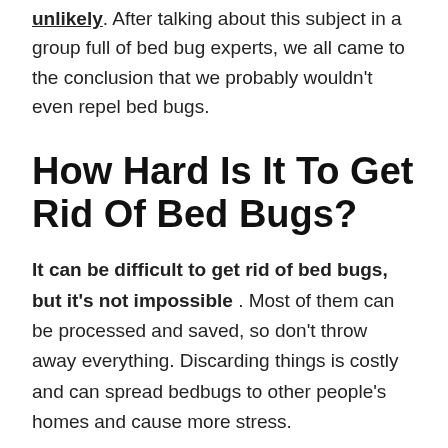unlikely. After talking about this subject in a group full of bed bug experts, we all came to the conclusion that we probably wouldn't even repel bed bugs.
How Hard Is It To Get Rid Of Bed Bugs?
It can be difficult to get rid of bed bugs, but it's not impossible. Most of them can be processed and saved, so don't throw away everything. Discarding things is costly and can spread bedbugs to other people's homes and cause more stress.